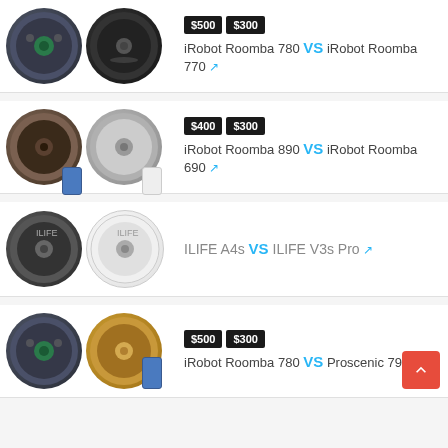iRobot Roomba 780 VS iRobot Roomba 770 — $500 $300
iRobot Roomba 890 VS iRobot Roomba 690 — $400 $300
ILIFE A4s VS ILIFE V3s Pro
iRobot Roomba 780 VS Proscenic 790T — $500 $300